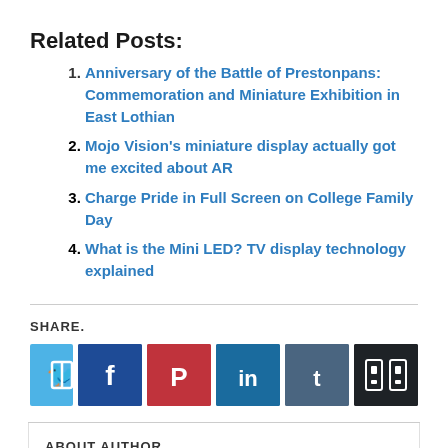Related Posts:
Anniversary of the Battle of Prestonpans: Commemoration and Miniature Exhibition in East Lothian
Mojo Vision's miniature display actually got me excited about AR
Charge Pride in Full Screen on College Family Day
What is the Mini LED? TV display technology explained
SHARE.
[Figure (infographic): Six social share buttons: Twitter (light blue), Facebook (dark blue), Pinterest (red), LinkedIn (medium blue), Tumblr (slate blue), and a More button (near black) each containing a white icon]
ABOUT AUTHOR